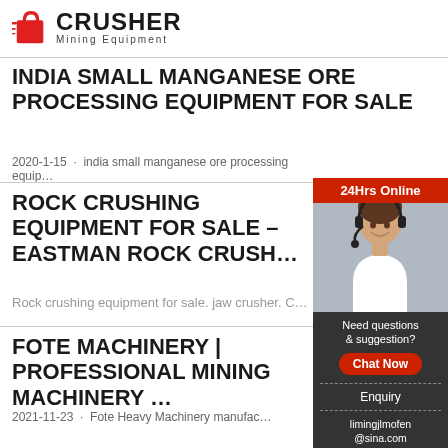CRUSHER Mining Equipment
INDIA SMALL MANGANESE ORE PROCESSING EQUIPMENT FOR SALE
2020-1-15 · india small manganese ore processing equip...
ROCK CRUSHING EQUIPMENT FOR SALE – EASTMAN ROCK CRUSH...
Rock crushing equipment for sale. jaw crusher. C...
FOTE MACHINERY | PROFESSIONAL MINING MACHINERY ...
2021-11-23 · Fote Heavy Machinery manufac...
[Figure (photo): Advertisement sidebar showing a woman with headset, '24Hrs Online' header, 'Need questions & suggestion?' text with 'Chat Now' button, 'Enquiry' link, and 'limingjlmofen@sina.com' contact email]